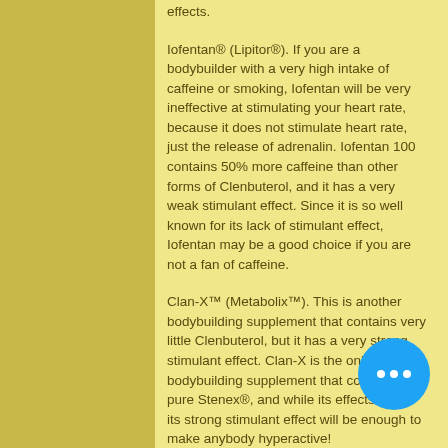effects.
Iofentan® (Lipitor®). If you are a bodybuilder with a very high intake of caffeine or smoking, Iofentan will be very ineffective at stimulating your heart rate, because it does not stimulate heart rate, just the release of adrenalin. Iofentan 100 contains 50% more caffeine than other forms of Clenbuterol, and it has a very weak stimulant effect. Since it is so well known for its lack of stimulant effect, Iofentan may be a good choice if you are not a fan of caffeine.
Clan-X™ (Metabolix™). This is another bodybuilding supplement that contains very little Clenbuterol, but it has a very strong stimulant effect. Clan-X is the only bodybuilding supplement that contains only pure Stenex®, and while its effects are mild, its strong stimulant effect will be enough to make anybody hyperactive!